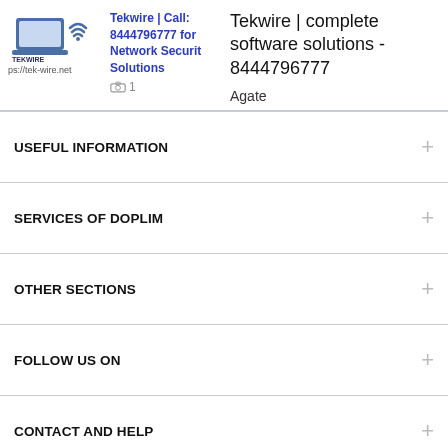[Figure (logo): Tekwire logo with laptop and wifi signal icon, text 'TEKWIRE' and 'ete Software Solutions']
Tekwire | Call: 8444796777 for Network Security Solutions
ps://tek-wire.net
📷 1
Tekwire | complete software solutions - 8444796777
Agate
USEFUL INFORMATION
SERVICES OF DOPLIM
OTHER SECTIONS
FOLLOW US ON
CONTACT AND HELP